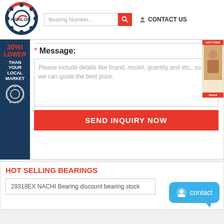[Figure (logo): Konlon bearing company logo - circular bearing graphic with KONLON text]
Bearing Number...
CONTACT US
30%! LOWER THAN YOUR LOCAL MARKET
* Message:
Please include details like brand, model, quantity and etc., so that we can quote the best price.
SEND INQUIRY NOW
HOT SELLING BEARINGS
29318EX NACHI Bearing discount bearing stock
contact